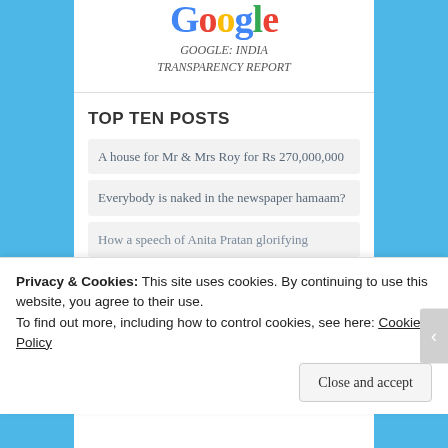[Figure (logo): Google logo with multi-colored letters]
GOOGLE: INDIA
TRANSPARENCY REPORT
TOP TEN POSTS
A house for Mr & Mrs Roy for Rs 270,000,000
Everybody is naked in the newspaper hamaam?
How a speech of Anita Pratan glorifying
Privacy & Cookies: This site uses cookies. By continuing to use this website, you agree to their use.
To find out more, including how to control cookies, see here: Cookie Policy
Close and accept